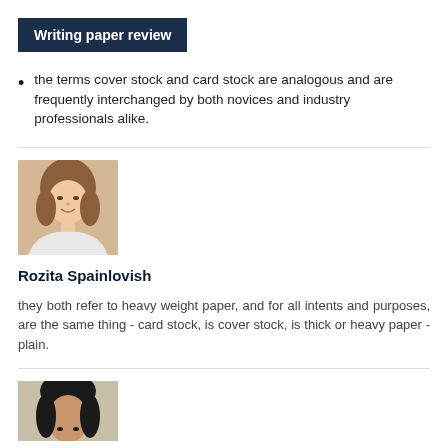Writing paper review
the terms cover stock and card stock are analogous and are frequently interchanged by both novices and industry professionals alike.
[Figure (photo): Portrait photo of a young woman with brown hair, smiling, against a light background.]
Rozita Spainlovish
they both refer to heavy weight paper, and for all intents and purposes, are the same thing - card stock, is cover stock, is thick or heavy paper - plain.
[Figure (photo): Portrait photo of a person with dark hair, partially visible at the bottom of the page.]